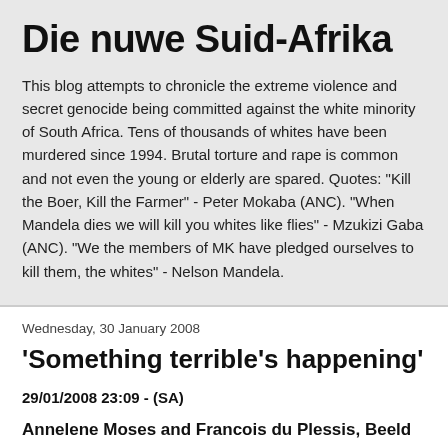Die nuwe Suid-Afrika
This blog attempts to chronicle the extreme violence and secret genocide being committed against the white minority of South Africa. Tens of thousands of whites have been murdered since 1994. Brutal torture and rape is common and not even the young or elderly are spared. Quotes: "Kill the Boer, Kill the Farmer" - Peter Mokaba (ANC). "When Mandela dies we will kill you whites like flies" - Mzukizi Gaba (ANC). "We the members of MK have pledged ourselves to kill them, the whites" - Nelson Mandela.
Wednesday, 30 January 2008
'Something terrible's happening'
29/01/2008 23:09 - (SA)
Annelene Moses and Francois du Plessis, Beeld
Johannesburg - The armed man who shot and killed